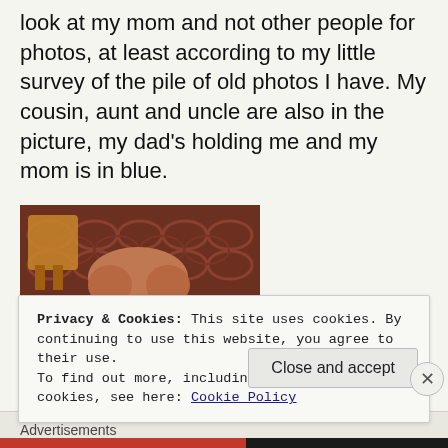look at my mom and not other people for photos, at least according to my little survey of the pile of old photos I have. My cousin, aunt and uncle are also in the picture, my dad's holding me and my mom is in blue.
[Figure (photo): Old vintage photograph of a baby/toddler with reddish hair, smiling, lying on a patterned carpet. Background shows wooden furniture.]
Privacy & Cookies: This site uses cookies. By continuing to use this website, you agree to their use.
To find out more, including how to control cookies, see here: Cookie Policy
Close and accept
Advertisements